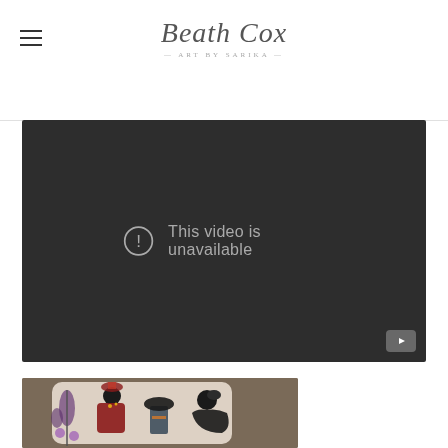Beath Cox — Art by Sarika
[Figure (screenshot): Dark video player showing 'This video is unavailable' message with exclamation mark icon and YouTube button in bottom right corner.]
[Figure (photo): Artwork showing Indian/folk-style figures with decorative elements on a brown background, partially cropped.]